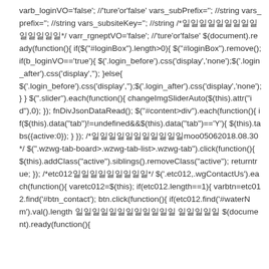varb_loginVO='false'; //'ture'or'false' vars_subPrefix=''; //string vars_prefix=''; //string vars_subsiteKey=''; //string /*일일일일일일일일일일일일일일*/ varr_rgneptVO='false'; //'ture'or'false' $(document).ready(function(){ if($("#loginBox").length>0){ $("#loginBox").remove(); if(b_loginVO=='true'){ $('.login_before').css('display','none');$('.login_after').css('display',''); }else{ $('.login_before').css('display','');$('.login_after').css('display','none'); } } $(".slider").each(function(){ changeImgSliderAuto($(this).attr("id"),0); }); fnDivJsonDataRead(); $("#content>div").each(function(){ if($(this).data("tab")!=undefined&&$(this).data("tab")=='Y'){ $(this).tabs({active:0}); } }); /*일일일일일일일일일일일moo05062018.08.30*/ $(".wzwg-tab-board>.wzwg-tab-list>.wzwg-tab").click(function(){ $(this).addClass("active").siblings().removeClass("active"); returntrue; }); /*etc012일일일일일일일일일*/ $('.etc012,.wgContactUs').each(function(){ varetc012=$(this); if(etc012.length==1){ varbtn=etc012.find('#btn_contact'); btn.click(function(){ if(etc012.find('#waterNm').val().length 일일일일일일일일일일일일 일일일일일 $(document).ready(function(){